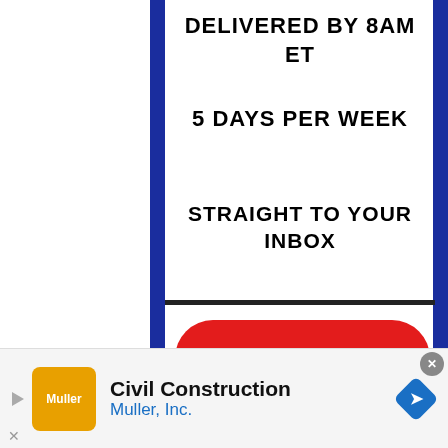[Figure (screenshot): Promotional signup widget with blue background, white card showing sports media newsletter promo text: '6 SPORTS MEDIA STORIES DELIVERED BY 8AM ET 5 DAYS PER WEEK STRAIGHT TO YOUR INBOX', red rounded Subscribe button, overlaid podcast card for 'The Jason Barrett Podcast', and a Jim Rome article thumbnail.]
DELIVERED BY 8AM ET
5 DAYS PER WEEK
STRAIGHT TO YOUR INBOX
SUBSCRIBE
THE JASON BARRETT PODCAST
JIM ROME GOT NEW PLAYBOO
Civil Construction
Muller, Inc.